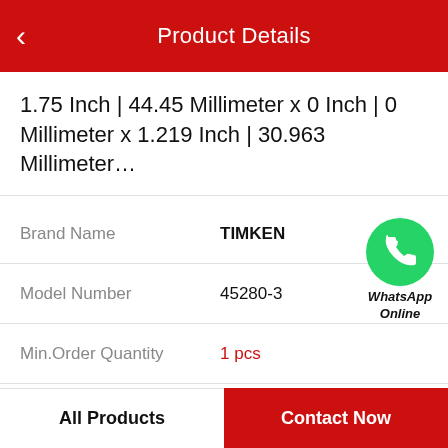Product Details
1.75 Inch | 44.45 Millimeter x 0 Inch | 0 Millimeter x 1.219 Inch | 30.963 Millimeter…
| Brand Name | Value |
| --- | --- |
| Brand Name | TIMKEN |
| Model Number | Value |
| --- | --- |
| Model Number | 45280-3 |
| Min.Order Quantity | Value |
| --- | --- |
| Min.Order Quantity | 1 pcs |
| Price | Value |
| --- | --- |
| Price | Negotiable |
Product Features
[Figure (screenshot): WhatsApp Online contact badge with green WhatsApp icon]
All Products    Contact Now